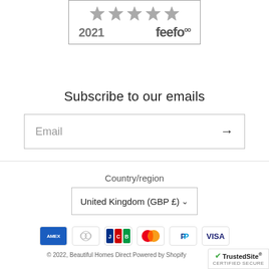[Figure (logo): Feefo 2021 Platinum Trusted Service award badge with 5 silver stars and Feefo logo]
Subscribe to our emails
Email (input field with arrow submit button)
Country/region
United Kingdom (GBP £)
[Figure (logo): Payment method icons: American Express, Diners Club, JCB, Mastercard, PayPal, Visa]
© 2022, Beautiful Homes Direct Powered by Shopify
[Figure (logo): TrustedSite Certified Secure badge]